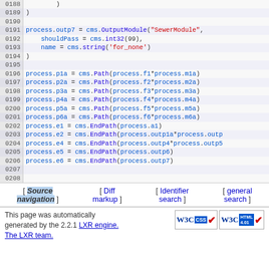Code listing lines 0188–0208 showing CMS process configuration in Python-like syntax
[ Source navigation ] [ Diff markup ] [ Identifier search ] [ general search ]
This page was automatically generated by the 2.2.1 LXR engine. The LXR team.